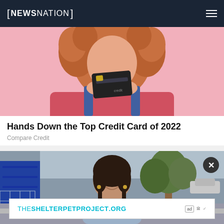NEWSNATION
[Figure (photo): Woman with curly red hair holding up a dark credit card with both hands against a pink background, wearing a pink top and denim overalls]
Hands Down the Top Credit Card of 2022
Compare Credit
[Figure (photo): Young woman with dark hair in braids smiling outdoors on a city street with trees and buildings in the background, wearing a light blue top]
THESHELTERPETPROJECT.ORG